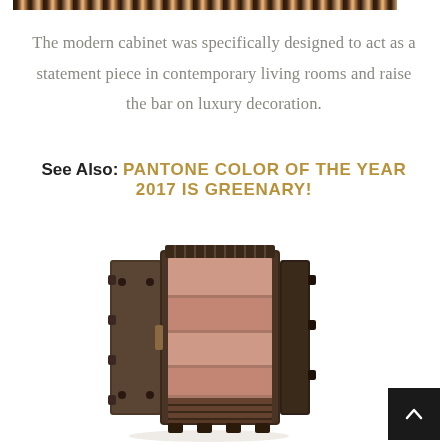[Figure (photo): Horizontal strip photo cropped at top showing a decorative cabinet with dark bronze/walnut finish and vertical elements]
The modern cabinet was specifically designed to act as a statement piece in contemporary living rooms and raise the bar on luxury decoration.
See Also: PANTONE COLOR OF THE YEAR 2017 IS GREENARY!
[Figure (photo): Open luxury cabinet with dark bronze metallic exterior and warm copper/rose interior shelving, shown at a slight angle, resembling a safe or vault door design]